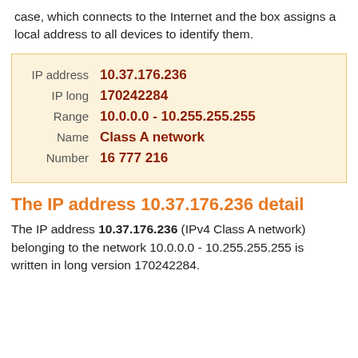case, which connects to the Internet and the box assigns a local address to all devices to identify them.
| Field | Value |
| --- | --- |
| IP address | 10.37.176.236 |
| IP long | 170242284 |
| Range | 10.0.0.0 - 10.255.255.255 |
| Name | Class A network |
| Number | 16 777 216 |
The IP address 10.37.176.236 detail
The IP address 10.37.176.236 (IPv4 Class A network) belonging to the network 10.0.0.0 - 10.255.255.255 is written in long version 170242284.